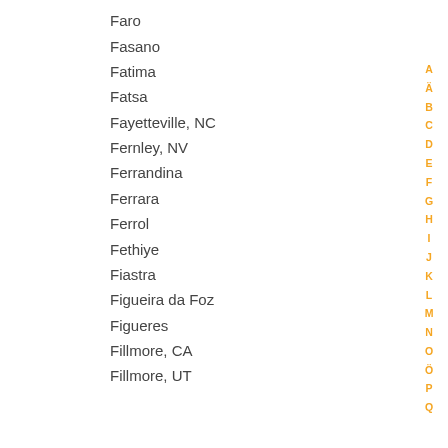Faro
Fasano
Fatima
Fatsa
Fayetteville, NC
Fernley, NV
Ferrandina
Ferrara
Ferrol
Fethiye
Fiastra
Figueira da Foz
Figueres
Fillmore, CA
Fillmore, UT